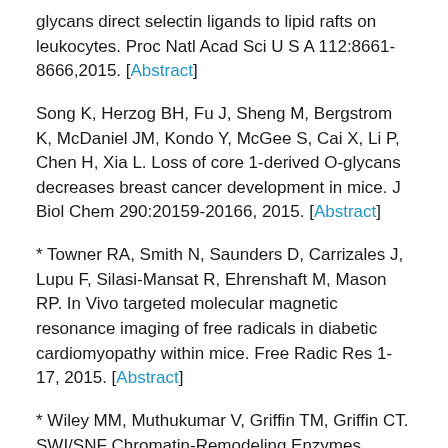glycans direct selectin ligands to lipid rafts on leukocytes. Proc Natl Acad Sci U S A 112:8661-8666,2015. [Abstract]
Song K, Herzog BH, Fu J, Sheng M, Bergstrom K, McDaniel JM, Kondo Y, McGee S, Cai X, Li P, Chen H, Xia L. Loss of core 1-derived O-glycans decreases breast cancer development in mice. J Biol Chem 290:20159-20166, 2015. [Abstract]
* Towner RA, Smith N, Saunders D, Carrizales J, Lupu F, Silasi-Mansat R, Ehrenshaft M, Mason RP. In Vivo targeted molecular magnetic resonance imaging of free radicals in diabetic cardiomyopathy within mice. Free Radic Res 1-17, 2015. [Abstract]
* Wiley MM, Muthukumar V, Griffin TM, Griffin CT. SWI/SNF Chromatin-Remodeling Enzymes Brahma-Related Gene (BRG1) and Brahma (BRM)...